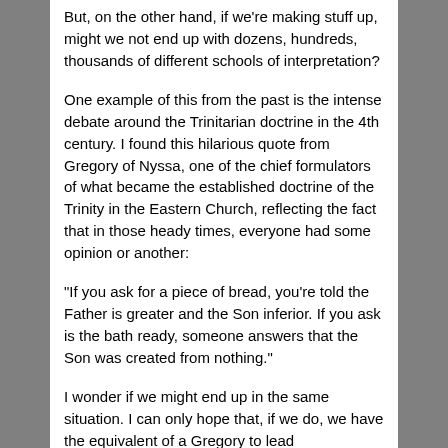But, on the other hand, if we're making stuff up, might we not end up with dozens, hundreds, thousands of different schools of interpretation?
One example of this from the past is the intense debate around the Trinitarian doctrine in the 4th century. I found this hilarious quote from Gregory of Nyssa, one of the chief formulators of what became the established doctrine of the Trinity in the Eastern Church, reflecting the fact that in those heady times, everyone had some opinion or another:
"If you ask for a piece of bread, you're told the Father is greater and the Son inferior. If you ask is the bath ready, someone answers that the Son was created from nothing."
I wonder if we might end up in the same situation. I can only hope that, if we do, we have the equivalent of a Gregory to lead the way.